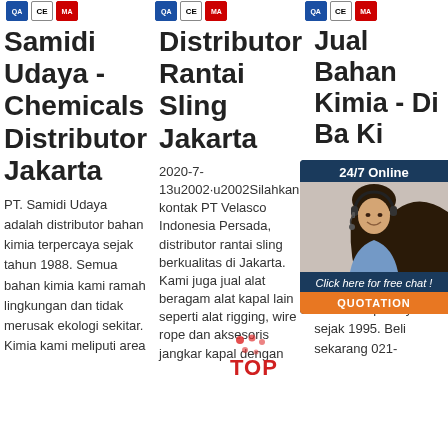[Figure (logo): Three badge logos: blue QA badge, CE mark, red MA badge - first column]
[Figure (logo): Three badge logos: blue QA badge, CE mark, red MA badge - second column]
[Figure (logo): Three badge logos: blue QA badge, CE mark, red MA badge - third column]
Samidi Udaya - Chemicals Distributor Jakarta
Distributor Rantai Sling Jakarta
Jual Bahan Kimia - Di Ba Ki
PT. Samidi Udaya adalah distributor bahan kimia terpercaya sejak tahun 1988. Semua bahan kimia kami ramah lingkungan dan tidak merusak ekologi sekitar. Kimia kami meliputi area
2020-7-13u2002·u2002Silahkan kontak PT Velasco Indonesia Persada, distributor rantai sling berkualitas di Jakarta. Kami juga jual alat beragam alat kapal lain seperti alat rigging, wire rope dan aksesoris jangkar kapal dengan
202... 27u... mer mad berk harga terjangkau dan pengiriman tepat waktu. Terpercaya sejak 1995. Beli sekarang 021-
[Figure (photo): Chat widget overlay with woman wearing headset, '24/7 Online' header, 'Click here for free chat!' text, and orange QUOTATION button]
[Figure (illustration): Red dot cluster / TOP badge watermark]